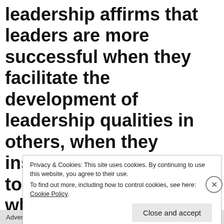leadership affirms that leaders are more successful when they facilitate the development of leadership qualities in others, when they inspire team leadership to solve problems, and when leaders are introspective about the personal
Privacy & Cookies: This site uses cookies. By continuing to use this website, you agree to their use.
To find out more, including how to control cookies, see here: Cookie Policy
Close and accept
Advertisements